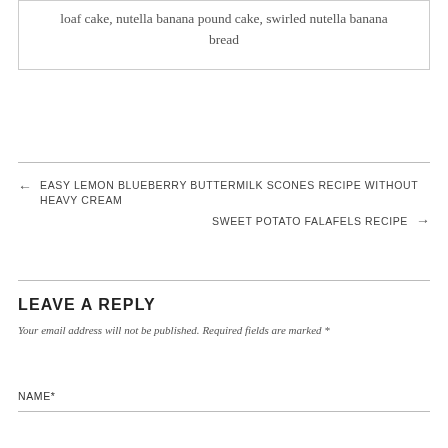loaf cake, nutella banana pound cake, swirled nutella banana bread
← EASY LEMON BLUEBERRY BUTTERMILK SCONES RECIPE WITHOUT HEAVY CREAM
SWEET POTATO FALAFELS RECIPE →
LEAVE A REPLY
Your email address will not be published. Required fields are marked *
NAME*